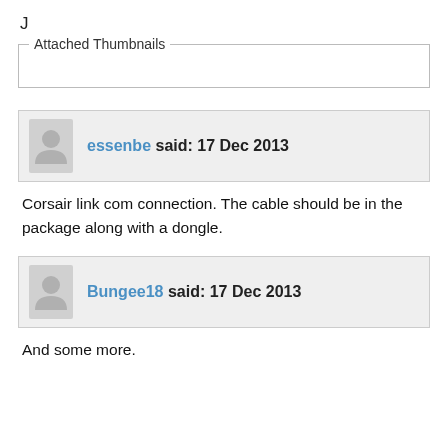J
Attached Thumbnails
essenbe said: 17 Dec 2013
Corsair link com connection. The cable should be in the package along with a dongle.
Bungee18 said: 17 Dec 2013
And some more.